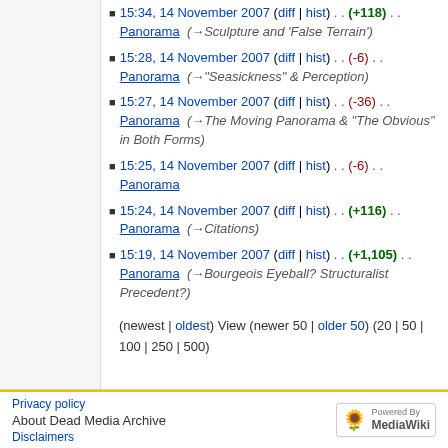15:34, 14 November 2007 (diff | hist) . . (+118) . . Panorama (→Sculpture and 'False Terrain')
15:28, 14 November 2007 (diff | hist) . . (-6) . . Panorama (→"Seasickness" & Perception)
15:27, 14 November 2007 (diff | hist) . . (-36) . . Panorama (→The Moving Panorama & "The Obvious" in Both Forms)
15:25, 14 November 2007 (diff | hist) . . (-6) . . Panorama
15:24, 14 November 2007 (diff | hist) . . (+116) . . Panorama (→Citations)
15:19, 14 November 2007 (diff | hist) . . (+1,105) . . Panorama (→Bourgeois Eyeball? Structuralist Precedent?)
(newest | oldest) View (newer 50 | older 50) (20 | 50 | 100 | 250 | 500)
Privacy policy   About Dead Media Archive Disclaimers   Powered By MediaWiki